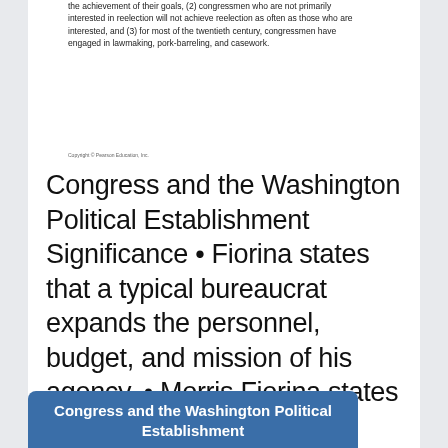the achievement of their goals, (2) congressmen who are not primarily interested in reelection will not achieve reelection as often as those who are interested, and (3) for most of the twentieth century, congressmen have engaged in lawmaking, pork-barreling, and casework.
Congress and the Washington Political Establishment Significance • Fiorina states that a typical bureaucrat expands the personnel, budget, and mission of his agency. • Morris Fiorina states that (1) congressmen find reelection to be at least a necessary condition for the achievement of their goals, (2) congressmen who are not primarily interested in reelection will not achieve reelection as often as those who are interested, and (3) for most of the twentieth century, congressmen have engaged in lawmaking, pork-barreling, and casework. Copyright © 2012 Pearson Education, Inc.
[Figure (other): Blue banner with text: Congress and the Washington Political Establishment]